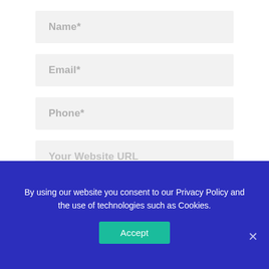[Figure (screenshot): Web form with input fields for Name*, Email*, Phone*, Your Website URL, and a partial fifth field, displayed on a white background]
By using our website you consent to our Privacy Policy and the use of technologies such as Cookies.
Accept